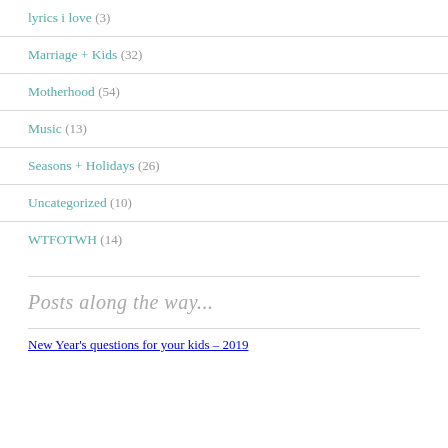lyrics i love (3)
Marriage + Kids (32)
Motherhood (54)
Music (13)
Seasons + Holidays (26)
Uncategorized (10)
WTFOTWH (14)
Posts along the way...
New Year's questions for your kids – 2019